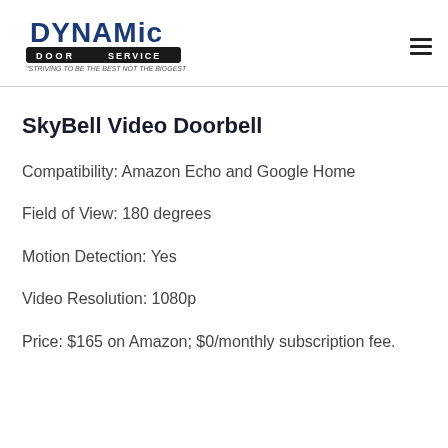Dynamic Door Service — STRIVING TO BE THE BEST NOT THE BIGGEST!
SkyBell Video Doorbell
Compatibility: Amazon Echo and Google Home
Field of View: 180 degrees
Motion Detection: Yes
Video Resolution: 1080p
Price: $165 on Amazon; $0/monthly subscription fee.